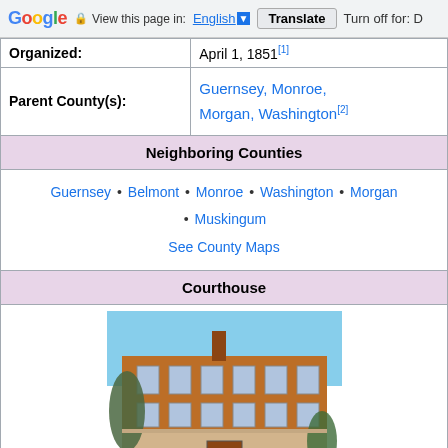Google — View this page in: English | Translate | Turn off for: D
| Organized: | April 1, 1851[1] |
| Parent County(s): | Guernsey, Monroe, Morgan, Washington[2] |
| Neighboring Counties | Guernsey • Belmont • Monroe • Washington • Morgan • Muskingum
See County Maps |
| Courthouse |  |
| [photo of courthouse] |  |
[Figure (photo): Photograph of a brick courthouse building, multi-story, with trees in foreground and blue sky background.]